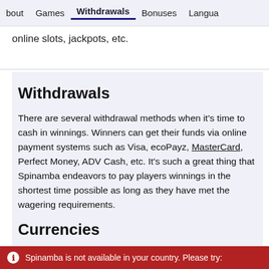bout   Games   Withdrawals   Bonuses   Language
online slots, jackpots, etc.
Withdrawals
There are several withdrawal methods when it's time to cash in winnings. Winners can get their funds via online payment systems such as Visa, ecoPayz, MasterCard, Perfect Money, ADV Cash, etc. It's such a great thing that Spinamba endeavors to pay players winnings in the shortest time possible as long as they have met the wagering requirements.
Currencies
Spinamba is not available in your country. Please try: